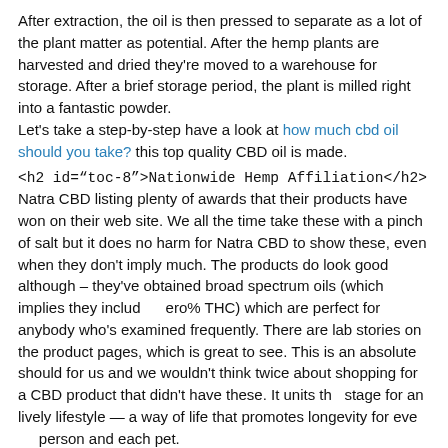After extraction, the oil is then pressed to separate as a lot of the plant matter as potential. After the hemp plants are harvested and dried they're moved to a warehouse for storage. After a brief storage period, the plant is milled right into a fantastic powder.
Let's take a step-by-step have a look at how much cbd oil should you take? this top quality CBD oil is made.
<h2 id="toc-8">Nationwide Hemp Affiliation</h2>
Natra CBD listing plenty of awards that their products have won on their web site. We all the time take these with a pinch of salt but it does no harm for Natra CBD to show these, even when they don't imply much. The products do look good although – they've obtained broad spectrum oils (which implies they includ     ero% THC) which are perfect for anybody who's examined frequently. There are lab stories on the product pages, which is great to see. This is an absolute should for us and we wouldn't think twice about shopping for a CBD product that didn't have these. It units th   stage for an lively lifestyle — a way of life that promotes longevity for eve      person and each pet.
The finely milled hemp powder is then sent to a producing and processing facility in Colorado. Smilyn CBD oil is made with great care from begin to finish, utilizing the best components and proprietary nano emulsion technology, to allow them to ensure they're providing their clients with the best possible that they can supply.